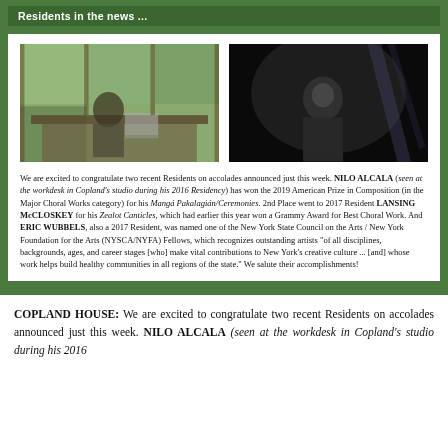Residents in the news ...
[Figure (photo): Person seated at workdesk in a wood-paneled studio with large windows and laptop]
[Figure (photo): Person in dark setting, dimly lit, appearing to be at a piano or desk]
We are excited to congratulate two recent Residents on accolades announced just this week. NILO ALCALA (seen at the workdesk in Copland's studio during his 2016 Residency) has won the 2019 American Prize in Composition (in the Major Choral Works category) for his Mangá Pakalagián/Ceremonies. 2nd Place went to 2017 Resident LANSING McCLOSKEY for his Zealot Canticles, which had earlier this year won a Grammy Award for Best Choral Work. And ERIC WUBBELS, also a 2017 Resident, was named one of the New York State Council on the Arts / New York Foundation for the Arts (NYSCA/NYFA) Fellows, which recognizes outstanding artists "of all disciplines, backgrounds, ages, and career stages [who] make vital contributions to New York's creative culture ... [and] whose work helps build healthy communities in all regions of the state." We salute their accomplishments!
COPLAND HOUSE: We are excited to congratulate two recent Residents on accolades announced just this week. NILO ALCALA (seen at the workdesk in Copland's studio during his 2016